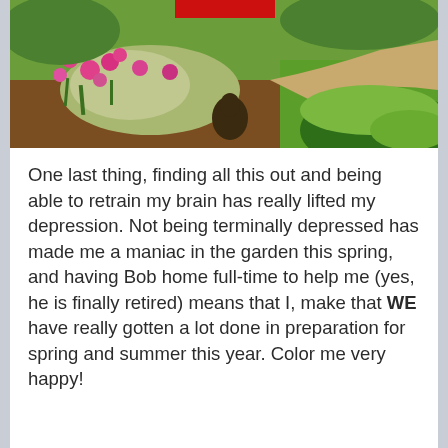[Figure (photo): Outdoor garden photo showing pink/magenta flowers, green foliage with silvery leaves, mulch, and grass in sunlight. A partially visible red sign or object appears at the top.]
One last thing, finding all this out and being able to retrain my brain has really lifted my depression.  Not being terminally depressed has made me a maniac in the garden this spring, and having Bob home full-time to help me (yes, he is finally retired) means that I, make that WE have really gotten a lot done in preparation for spring and summer this year.  Color me very happy!